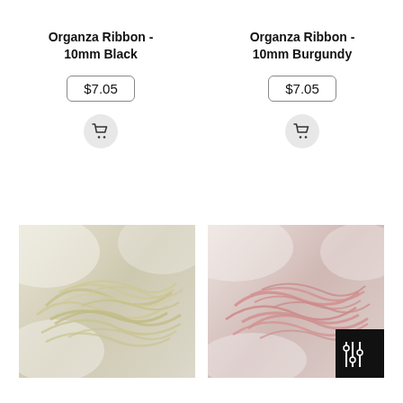Organza Ribbon - 10mm Black
$7.05
Organza Ribbon - 10mm Burgundy
$7.05
[Figure (photo): Cream/ivory organza ribbon tangled in a pile on white fabric background]
[Figure (photo): Pink organza ribbon tangled in a pile on white fabric background]